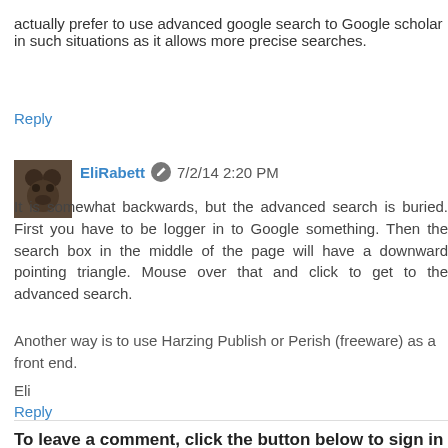actually prefer to use advanced google search to Google scholar in such situations as it allows more precise searches.
Reply
EliRabett 7/2/14 2:20 PM
It is somewhat backwards, but the advanced search is buried. First you have to be logger in to Google something. Then the search box in the middle of the page will have a downward pointing triangle. Mouse over that and click to get to the advanced search.
Another way is to use Harzing Publish or Perish (freeware) as a front end.
Eli
Reply
To leave a comment, click the button below to sign in with Google.